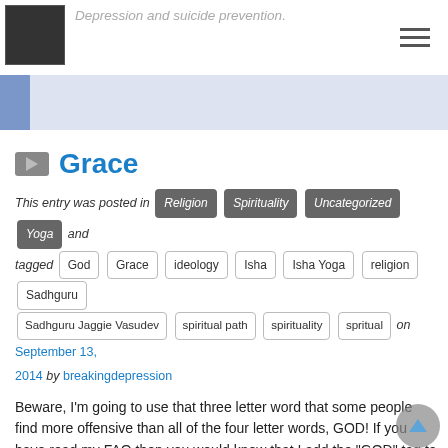Depression and suicide prevention.
Grace
This entry was posted in Religion Spirituality Uncategorized Yoga and tagged God Grace ideology Isha Isha Yoga religion Sadhguru Sadhguru Jaggie Vasudev spiritual path spirituality spritual on September 13, 2014 by breakingdepression
Beware, I’m going to use that three letter word that some people find more offensive than all of the four letter words, GOD!  If you have read my FAQ then you would know that I add the “GOD” tag to all posts where I mention “God”, “The Creator”, “The Source”, “Source Energy”, “Shiva”, “Allah” “El Shaddai”, “Adanoi”, “YHWH”, “Yahweh”, “Jehovah”, or any other number of names given to the Creator by various religions. I read the Bible at least four times during those